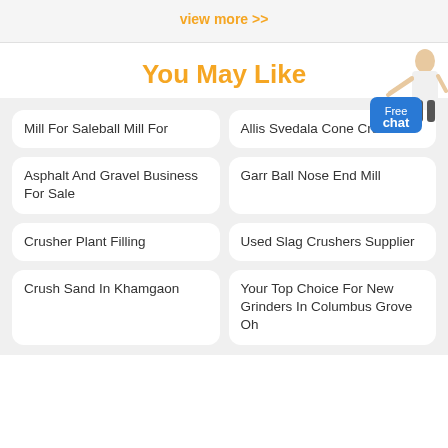view more >>
You May Like
Mill For Saleball Mill For
Allis Svedala Cone Crusher
Asphalt And Gravel Business For Sale
Garr Ball Nose End Mill
Crusher Plant Filling
Used Slag Crushers Supplier
Crush Sand In Khamgaon
Your Top Choice For New Grinders In Columbus Grove Oh